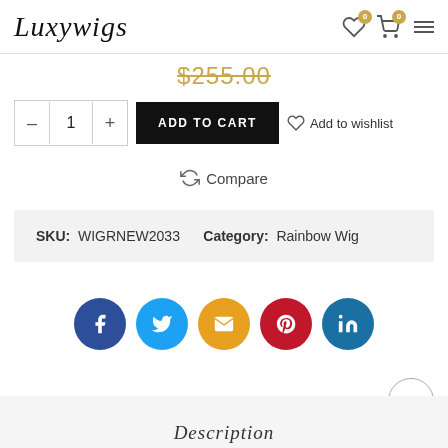[Figure (logo): Luxywigs cursive script logo]
$255.00 (strikethrough price)
- 1 + ADD TO CART ♡ Add to wishlist
⟳ Compare
SKU: WIGRNEW2033   Category: Rainbow Wig
[Figure (infographic): Social sharing icons: Facebook, Twitter, Email, Pinterest, LinkedIn]
Description